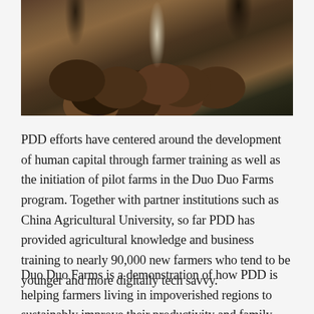[Figure (photo): Outdoor agricultural scene showing farmers standing near a large pile of harvested potatoes or root vegetables on brown soil, with a white marker or stake visible, green vegetation in background.]
PDD efforts have centered around the development of human capital through farmer training as well as the initiation of pilot farms in the Duo Duo Farms program. Together with partner institutions such as China Agricultural University, so far PDD has provided agricultural knowledge and business training to nearly 90,000 new farmers who tend to be younger and more digitally tech savvy.
Duo Duo Farms is a demonstration of how PDD is helping farmers living in impoverished regions to sustainably improve their productivity and family